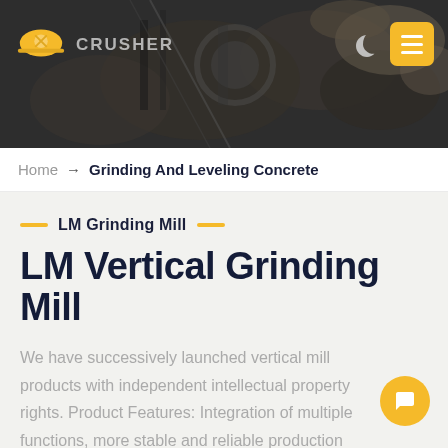[Figure (screenshot): Website header banner with dark industrial/mining background image, showing crusher logo on left and navigation icons (moon/dark mode toggle and yellow hamburger menu button) on right]
Home → Grinding And Leveling Concrete
LM Grinding Mill
LM Vertical Grinding Mill
We have successively launched vertical mill products with independent intellectual property rights. Product Features: Integration of multiple functions, more stable and reliable production and more excellent capacity